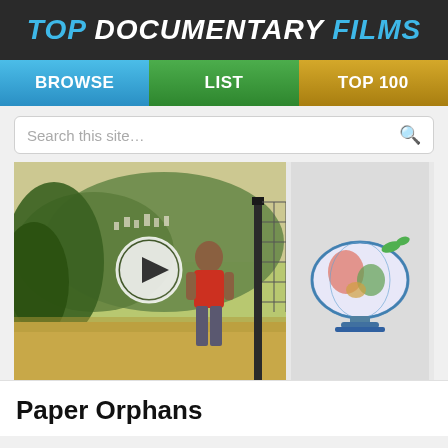TOP DOCUMENTARY FILMS
[Figure (screenshot): Navigation bar with BROWSE (blue), LIST (green), TOP 100 (gold) buttons]
[Figure (screenshot): Search bar with placeholder 'Search this site...' and magnifying glass icon]
[Figure (photo): Video thumbnail showing a child in red shirt standing near a gate with a hillside city behind, with a play button overlay and a globe illustration on the right side]
Paper Orphans